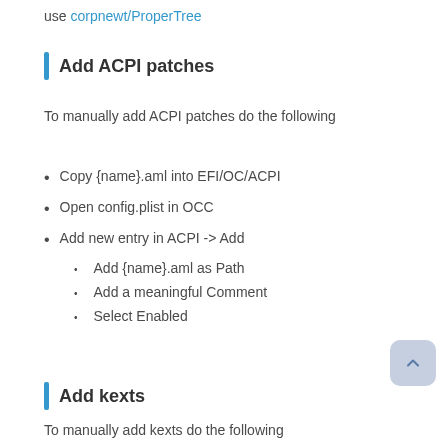use corpnewt/ProperTree
Add ACPI patches
To manually add ACPI patches do the following
Copy {name}.aml into EFI/OC/ACPI
Open config.plist in OCC
Add new entry in ACPI -> Add
Add {name}.aml as Path
Add a meaningful Comment
Select Enabled
Add kexts
To manually add kexts do the following